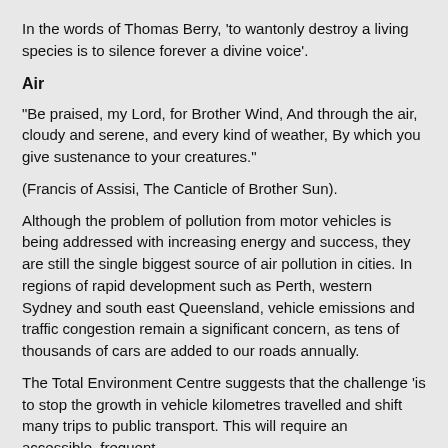In the words of Thomas Berry, 'to wantonly destroy a living species is to silence forever a divine voice'.
Air
"Be praised, my Lord, for Brother Wind, And through the air, cloudy and serene, and every kind of weather, By which you give sustenance to your creatures."
(Francis of Assisi, The Canticle of Brother Sun).
Although the problem of pollution from motor vehicles is being addressed with increasing energy and success, they are still the single biggest source of air pollution in cities. In regions of rapid development such as Perth, western Sydney and south east Queensland, vehicle emissions and traffic congestion remain a significant concern, as tens of thousands of cars are added to our roads annually.
The Total Environment Centre suggests that the challenge 'is to stop the growth in vehicle kilometres travelled and shift many trips to public transport. This will require an accessible, frequent